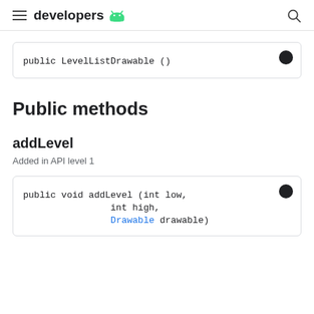developers
public LevelListDrawable ()
Public methods
addLevel
Added in API level 1
public void addLevel (int low,
                int high,
                Drawable drawable)